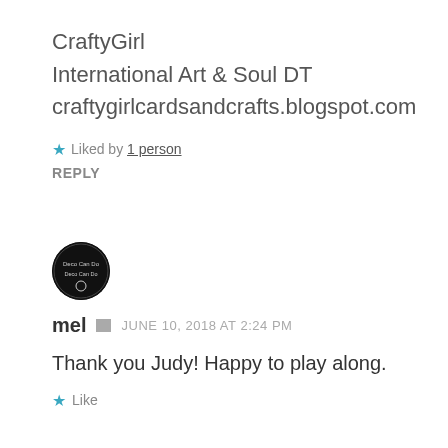CraftyGirl
International Art & Soul DT
craftygirlcardsandcrafts.blogspot.com
★ Liked by 1 person
REPLY
[Figure (logo): Round black avatar logo with text 'Deco Can Do' inside]
mel  JUNE 10, 2018 AT 2:24 PM
Thank you Judy! Happy to play along.
★ Like